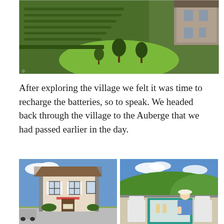[Figure (photo): Aerial view of a French village with terraced gardens, green lawns, trees, and a stone building in the upper right corner.]
After exploring the village we felt it was time to recharge the batteries, so to speak. We headed back through the village to the Auberge that we had passed earlier in the day.
[Figure (photo): Two side-by-side photos: left shows a traditional French auberge building with white shuttered windows under a blue sky; right shows a woman sitting at a table on an outdoor terrace with green valley views.]